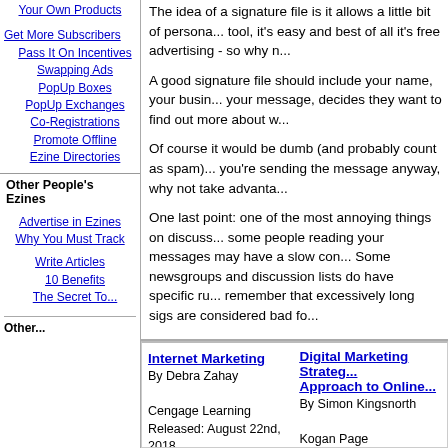Your Own Products
Get More Subscribers
Pass It On Incentives
Swapping Ads
PopUp Boxes
PopUp Exchanges
Co-Registrations
Promote Offline
Ezine Directories
Other People's Ezines
Advertise in Ezines
Why You Must Track
Write Articles
10 Benefits
The Secret To...
The idea of a signature file is it allows a little bit of personal promotion in every message you send. As a marketing tool, it's easy and best of all it's free advertising - so why not use it?
A good signature file should include your name, your business name and URL, and maybe a one or two line benefit statement. If someone reading your message, decides they want to find out more about what you offer, they can simply click on your link.
Of course it would be dumb (and probably count as spam) to send out emails for the sole purpose of getting people to see your sig. But if you're sending the message anyway, why not take advantage of the opportunity?
One last point: one of the most annoying things on discussion lists, and via email in general, is a signature that's too long. Remember some people reading your messages may have a slow connection, and pay for every kb they download. Some newsgroups and discussion lists do have specific rules about how long your sig can be. So please remember that excessively long sigs are considered bad form.
Internet Marketing
By Debra Zahay
Cengage Learning
Released: August 22nd, 2018
Paperback (562 pages)
[Figure (illustration): Book cover for Internet Marketing by Zahay and Roberts, blue cover]
Digital Marketing Strategy: Approach to Online
By Simon Kingsnorth
Kogan Page
Released: May 31st, 2022
Paperback (416 pages)
[Figure (illustration): Book cover for Digital Marketing Strategy, 3rd edition, dark cover]